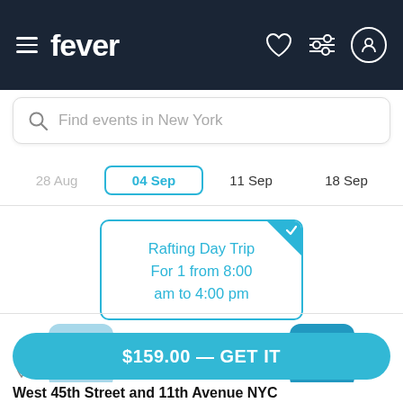fever
Find events in New York
28 Aug  04 Sep  11 Sep  18 Sep
Rafting Day Trip For 1 from 8:00 am to 4:00 pm
1 ticket
Getting there
$159.00 — GET IT
West 45th Street and 11th Avenue NYC